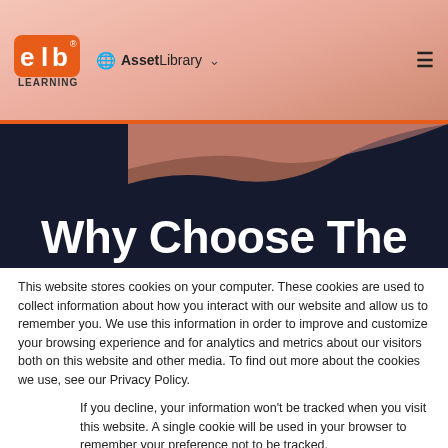[Figure (logo): ELB Learning logo with orange 'elb' text and 'LEARNING' text below, and Asset Library navigation header]
Why Choose The
This website stores cookies on your computer. These cookies are used to collect information about how you interact with our website and allow us to remember you. We use this information in order to improve and customize your browsing experience and for analytics and metrics about our visitors both on this website and other media. To find out more about the cookies we use, see our Privacy Policy.
If you decline, your information won't be tracked when you visit this website. A single cookie will be used in your browser to remember your preference not to be tracked.